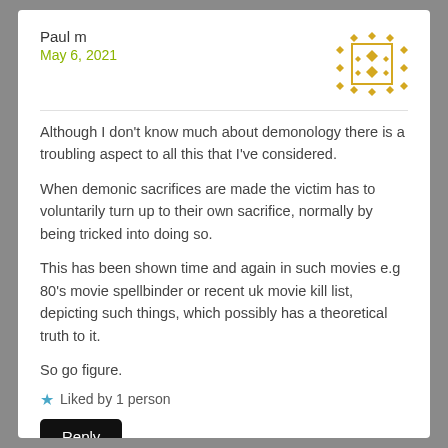Paul m
May 6, 2021
[Figure (illustration): Golden/yellow decorative diamond pattern avatar icon with ornamental border]
Although I don't know much about demonology there is a troubling aspect to all this that I've considered.
When demonic sacrifices are made the victim has to voluntarily turn up to their own sacrifice, normally by being tricked into doing so.
This has been shown time and again in such movies e.g 80's movie spellbinder or recent uk movie kill list, depicting such things, which possibly has a theoretical truth to it.
So go figure.
Liked by 1 person
Reply